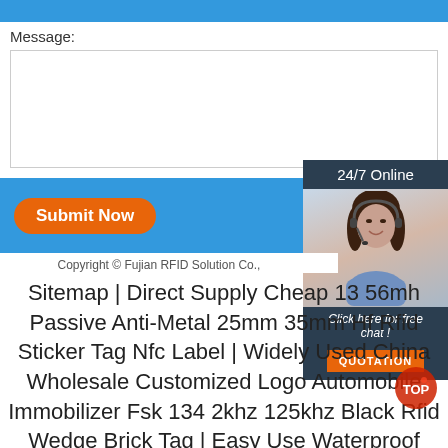Message:
Submit Now
[Figure (photo): 24/7 Online customer service chat widget with photo of smiling woman with headset, 'Click here for free chat!' text, and QUOTATION button]
Copyright © Fujian RFID Solution Co.,
Sitemap | Direct Supply Cheap 13 56mh Passive Anti-Metal 25mm 35mm Hf Rfid Sticker Tag Nfc Label | Widely Used China Wholesale Customized Logo Automobile Immobilizer Fsk 134 2khz 125khz Black Rfid Wedge Brick Tag | Easy Use Waterproof Neck Pouch Stash Rfid Blocking Travel Passport Wallet